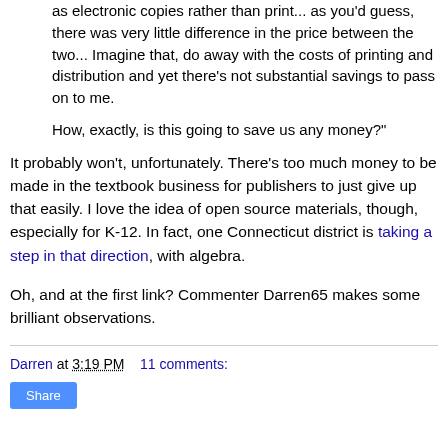as electronic copies rather than print... as you'd guess, there was very little difference in the price between the two... Imagine that, do away with the costs of printing and distribution and yet there's not substantial savings to pass on to me.
How, exactly, is this going to save us any money?"
It probably won't, unfortunately. There's too much money to be made in the textbook business for publishers to just give up that easily. I love the idea of open source materials, though, especially for K-12. In fact, one Connecticut district is taking a step in that direction, with algebra.
Oh, and at the first link? Commenter Darren65 makes some brilliant observations.
Darren at 3:19 PM   11 comments: